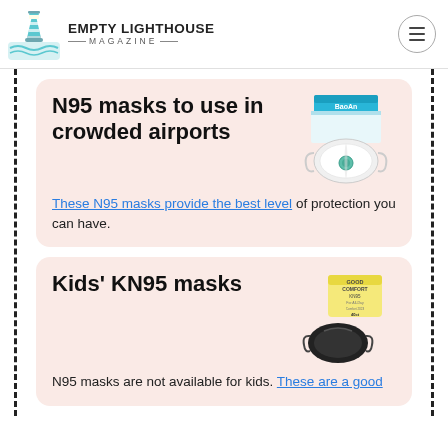EMPTY LIGHTHOUSE MAGAZINE
N95 masks to use in crowded airports
These N95 masks provide the best level of protection you can have.
Kids' KN95 masks
N95 masks are not available for kids. These are a good